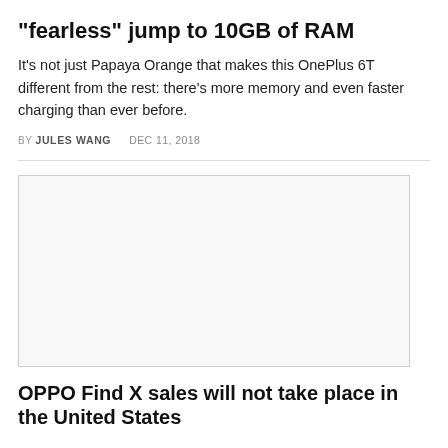“fearless” jump to 10GB of RAM
It’s not just Papaya Orange that makes this OnePlus 6T different from the rest: there’s more memory and even faster charging than ever before.
BY JULES WANG   DEC 11, 2018
[Figure (photo): Image placeholder for article photo]
OPPO Find X sales will not take place in the United States